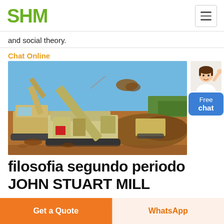SHM
and social theory.
Chat Online
[Figure (photo): A large mobile rock crushing/screening machine with a conveyor arm extended, operated alongside an excavator on a construction/mining site with piles of rubble and earth under a blue sky.]
filosofia segundo periodo JOHN STUART MILL